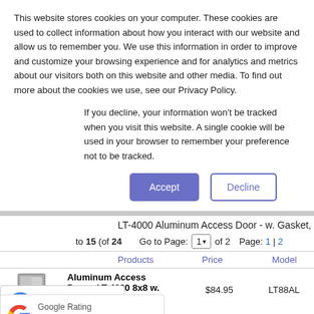This website stores cookies on your computer. These cookies are used to collect information about how you interact with our website and allow us to remember you. We use this information in order to improve and customize your browsing experience and for analytics and metrics about our visitors both on this website and other media. To find out more about the cookies we use, see our Privacy Policy.
If you decline, your information won't be tracked when you visit this website. A single cookie will be used in your browser to remember your preference not to be tracked.
Accept | Decline
LT-4000 Aluminum Access Door - w. Gasket, Insulated, In-Door and Out-Door
to 15 (of 24   Go to Page: 1 of 2   Page: 1 | 2
| Products | Price | Model |
| --- | --- | --- |
| Aluminum Access Door - LT-4000 8x8 w. [Buy Now] | $84.95 | LT88AL |
[Figure (logo): Google G logo with reCaptcha icon]
Privacy · Terms
Google Rating 4.9 ★★★★½